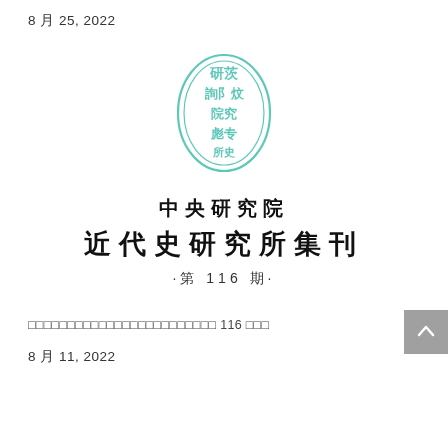8 月 25, 2022
[Figure (logo): Oval seal/stamp with Chinese characters in teal/mint color, representing an academic institution seal]
中央研究院 近代史研究所集刊
·第 116 期·
近代史研究所集刊第 116 期目次
8 月 11, 2022